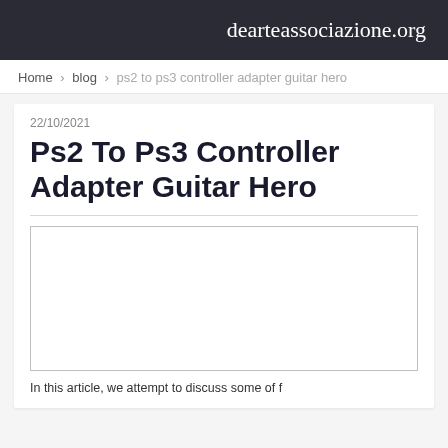dearteassociazione.org
Home › blog › ps2 to ps3 controller adapter guitar hero
22/10/2021
Ps2 To Ps3 Controller Adapter Guitar Hero
[Figure (other): Empty white image placeholder box with a gray border]
In this article, we attempt to discuss some of f